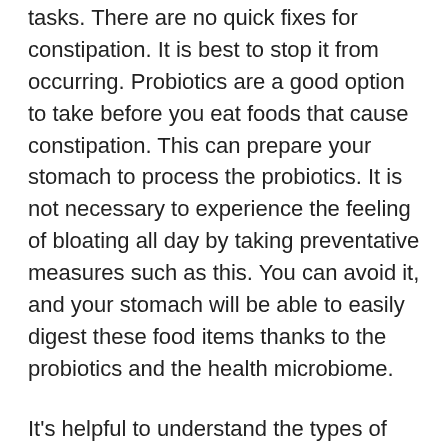tasks. There are no quick fixes for constipation. It is best to stop it from occurring. Probiotics are a good option to take before you eat foods that cause constipation. This can prepare your stomach to process the probiotics. It is not necessary to experience the feeling of bloating all day by taking preventative measures such as this. You can avoid it, and your stomach will be able to easily digest these food items thanks to the probiotics and the health microbiome.
It's helpful to understand the types of foods that make you feel bloated the first place so you can either avoid them or make sure you have taken a probiotic capsule prior to when eating them. Below are some of the most popular.